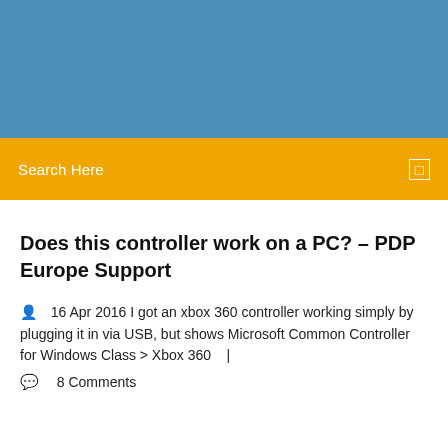[Figure (other): Blue header banner background]
Search Here
Does this controller work on a PC? – PDP Europe Support
16 Apr 2016 I got an xbox 360 controller working simply by plugging it in via USB, but shows Microsoft Common Controller for Windows Class > Xbox 360   |
8 Comments